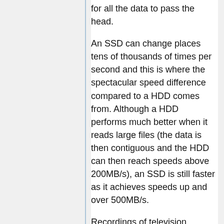for all the data to pass the head.
An SSD can change places tens of thousands of times per second and this is where the spectacular speed difference compared to a HDD comes from. Although a HDD performs much better when it reads large files (the data is then contiguous and the HDD can then reach speeds above 200MB/s), an SSD is still faster as it achieves speeds up and over 500MB/s.
Recordings of television broadcasts are large, contiguous files. The bitrates for broadcasts are roughly between 1.5 and 25 Mb/s, which translates into speeds of about 175KB/s to 3125KB/s. The read/write pattern therefore corresponds well to what hard drives are good at and the speeds that are needed are far below what hard drives can deliver.